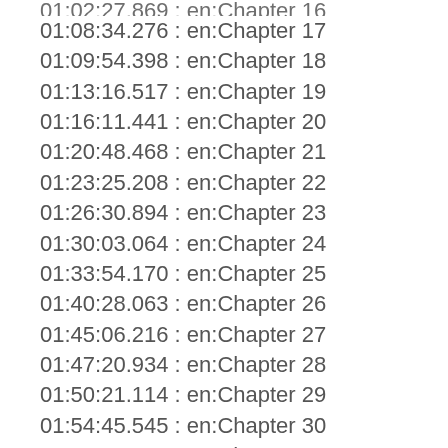01:02:27.869 : en:Chapter 16
01:08:34.276 : en:Chapter 17
01:09:54.398 : en:Chapter 18
01:13:16.517 : en:Chapter 19
01:16:11.441 : en:Chapter 20
01:20:48.468 : en:Chapter 21
01:23:25.208 : en:Chapter 22
01:26:30.894 : en:Chapter 23
01:30:03.064 : en:Chapter 24
01:33:54.170 : en:Chapter 25
01:40:28.063 : en:Chapter 26
01:45:06.216 : en:Chapter 27
01:47:20.934 : en:Chapter 28
01:50:21.114 : en:Chapter 29
01:54:45.545 : en:Chapter 30
02:01:04.257 : en:Chapter 31
02:04:36.844 : en:Chapter 32
02:06:50.603 : en:Chapter 33
02:10:59.141 : en:Chapter 34